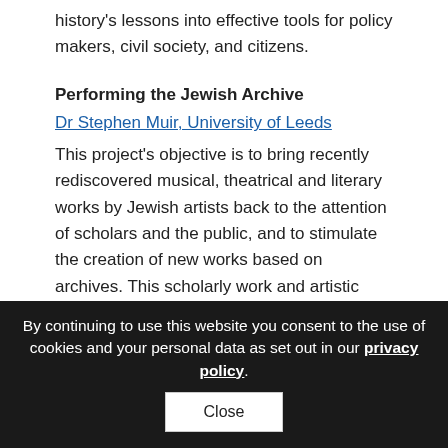history's lessons into effective tools for policy makers, civil society, and citizens.
Performing the Jewish Archive
Dr Stephen Muir, University of Leeds
This project's objective is to bring recently rediscovered musical, theatrical and literary works by Jewish artists back to the attention of scholars and the public, and to stimulate the creation of new works based on archives. This scholarly work and artistic practice will engage with and re-theorise traditional archives, ethnographic archives, and artistic works themselves. The multi-disciplinary team will focus on the years 1880-1950, an intense period of Jewish displacement, in order to illuminate the role of art in displacement.
By continuing to use this website you consent to the use of cookies and your personal data as set out in our privacy policy. Close